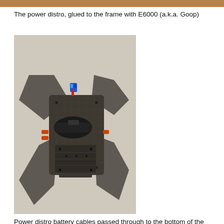The power distro, glued to the frame with E6000 (a.k.a. Goop)
[Figure (photo): A drone carbon fiber frame (quadcopter) photographed from the top/bottom angle against a light beige wall. The frame shows four arms extending outward in an X configuration with carbon fiber weave texture. A blue and red connector (XT60 or similar) is visible at the top center. A black component (possibly a battery strap buckle or camera mount) is strapped across the middle of the frame. The central body plate shows multiple mounting holes and screw holes. Orange/red wire connectors are visible on the sides.]
Power distro battery cables passed through to the bottom of the